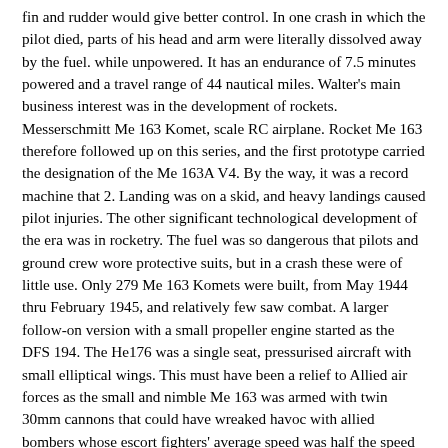fin and rudder would give better control. In one crash in which the pilot died, parts of his head and arm were literally dissolved away by the fuel. while unpowered. It has an endurance of 7.5 minutes powered and a travel range of 44 nautical miles. Walter's main business interest was in the development of rockets. Messerschmitt Me 163 Komet, scale RC airplane. Rocket Me 163 therefore followed up on this series, and the first prototype carried the designation of the Me 163A V4. By the way, it was a record machine that 2. Landing was on a skid, and heavy landings caused pilot injuries. The other significant technological development of the era was in rocketry. The fuel was so dangerous that pilots and ground crew wore protective suits, but in a crash these were of little use. Only 279 Me 163 Komets were built, from May 1944 thru February 1945, and relatively few saw combat. A larger follow-on version with a small propeller engine started as the DFS 194. The He176 was a single seat, pressurised aircraft with small elliptical wings. This must have been a relief to Allied air forces as the small and nimble Me 163 was armed with twin 30mm cannons that could have wreaked havoc with allied bombers whose escort fighters' average speed was half the speed of the little Komet's. The DFS facilities proving to be ill-equipped to build the metal fuselage of the 194, Lippisch and his team transferred in January 1939 to the Messerschmitt company. Designed to shoot down Allied bombers, the aircraft had sufficient climb performance to be scrambled from base when the high altitude bombers were almost